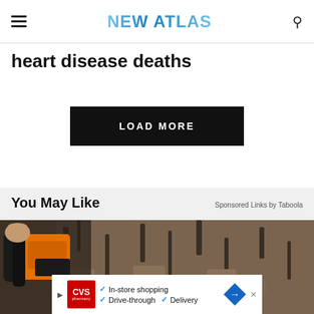NEW ATLAS
heart disease deaths
LOAD MORE
You May Like
Sponsored Links by Taboola
[Figure (photo): Person using an orange chainsaw to cut into a large tree trunk outdoors]
[Figure (infographic): CVS Pharmacy advertisement showing In-store shopping, Drive-through, and Delivery options]